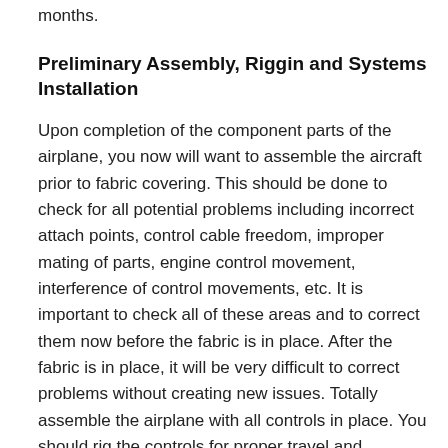months.
Preliminary Assembly, Riggin and Systems Installation
Upon completion of the component parts of the airplane, you now will want to assemble the aircraft prior to fabric covering. This should be done to check for all potential problems including incorrect attach points, control cable freedom, improper mating of parts, engine control movement, interference of control movements, etc. It is important to check all of these areas and to correct them now before the fabric is in place. After the fabric is in place, it will be very difficult to correct problems without creating new issues. Totally assemble the airplane with all controls in place. You should rig the controls for proper travel and freedom. You only need to secure the control surfaces temporarily as they will be removed for cover. You will want to attach the tail surfaces last so you do not have